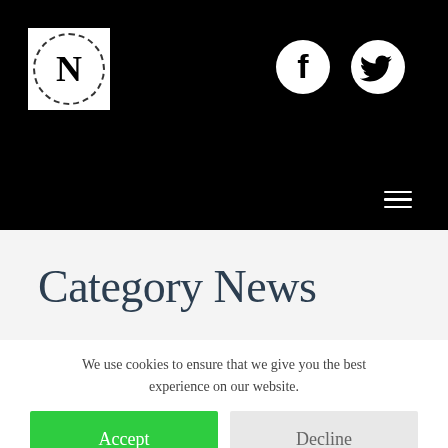N (logo) — navigation header with Facebook and Twitter icons and hamburger menu
Category News
We use cookies to ensure that we give you the best experience on our website.
Accept
Decline